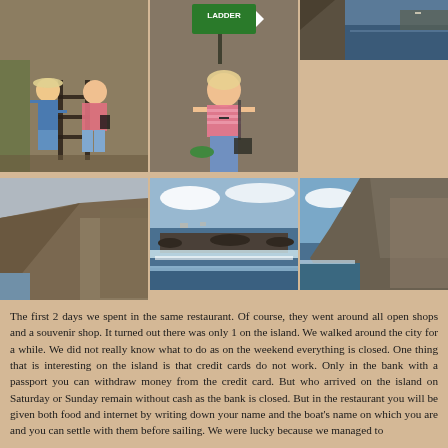[Figure (photo): Two people posing at ladder/railing on rocky terrain]
[Figure (photo): Young woman standing in front of a green LADDER sign on stone wall]
[Figure (photo): Small aerial/coastal view photo top right and beige background below]
[Figure (photo): Rocky coastal cliff with overcast sky]
[Figure (photo): Rocky coastline with waves and ocean]
[Figure (photo): Steep rocky headland with ocean and blue sky]
The first 2 days we spent in the same restaurant. Of course, they went around all open shops and a souvenir shop. It turned out there was only 1 on the island. We walked around the city for a while. We did not really know what to do as on the weekend everything is closed. One thing that is interesting on the island is that credit cards do not work. Only in the bank with a passport you can withdraw money from the credit card. But who arrived on the island on Saturday or Sunday remain without cash as the bank is closed. But in the restaurant you will be given both food and internet by writing down your name and the boat's name on which you are and you can settle with them before sailing. We were lucky because we managed to